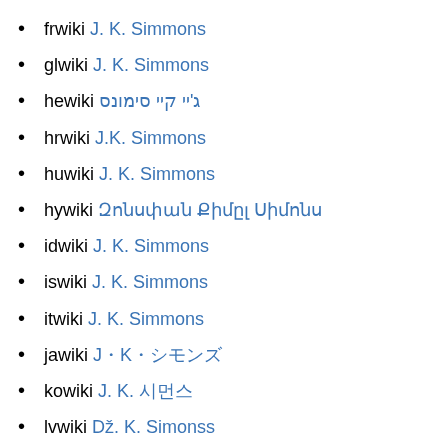frwiki J. K. Simmons
glwiki J. K. Simmons
hewiki ג'יי קיי סימונס
hrwiki J.K. Simmons
huwiki J. K. Simmons
hywiki Զոնսփան Քիմըլ Սիմոնս
idwiki J. K. Simmons
iswiki J. K. Simmons
itwiki J. K. Simmons
jawiki J・K・シモンズ
kowiki J. K. 시먼스
lvwiki Dž. K. Simonss
mnwiki Жей Кей Симмонс
mswiki J. K. Simmons
nlwiki J.K. Simmons
nowiki J.K. Simmons